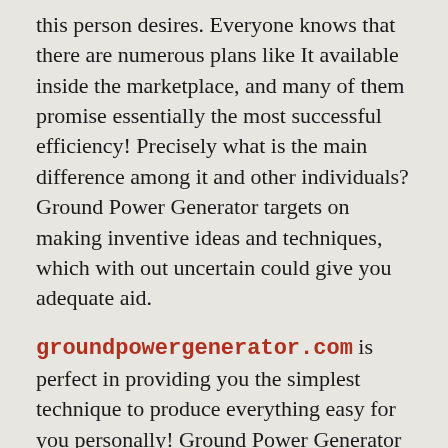this person desires. Everyone knows that there are numerous plans like It available inside the marketplace, and many of them promise essentially the most successful efficiency! Precisely what is the main difference among it and other individuals? Ground Power Generator targets on making inventive ideas and techniques, which with out uncertain could give you adequate aid.
groundpowergenerator.com is perfect in providing you the simplest technique to produce everything easy for you personally! Ground Power Generator is an incredible ebook or guide that features crucial ideas, providing you in detail and specific directions in creating your own beautiful potential!